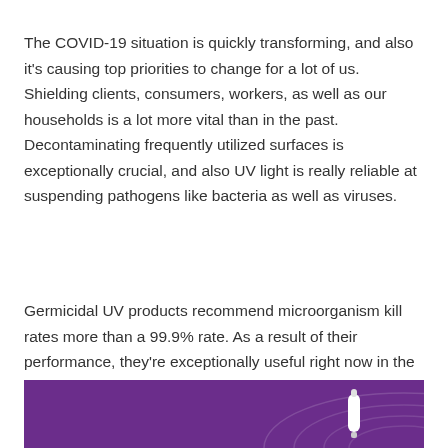The COVID-19 situation is quickly transforming, and also it's causing top priorities to change for a lot of us. Shielding clients, consumers, workers, as well as our households is a lot more vital than in the past. Decontaminating frequently utilized surfaces is exceptionally crucial, and also UV light is really reliable at suspending pathogens like bacteria as well as viruses.
Germicidal UV products recommend microorganism kill rates more than a 99.9% rate. As a result of their performance, they're exceptionally useful right now in the home.
[Figure (photo): Purple background with decorative arc lines and a white device (UV wand or similar product) visible at the bottom right of the image.]